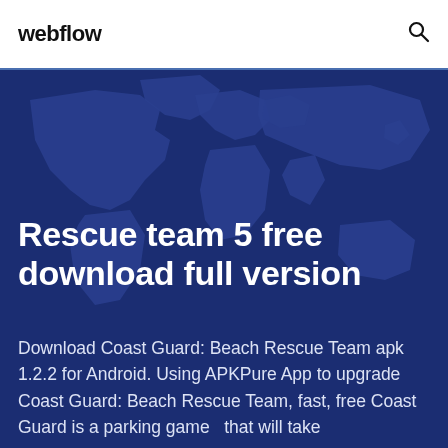webflow
Rescue team 5 free download full version
Download Coast Guard: Beach Rescue Team apk 1.2.2 for Android. Using APKPure App to upgrade Coast Guard: Beach Rescue Team, fast, free Coast Guard is a parking game  that will take